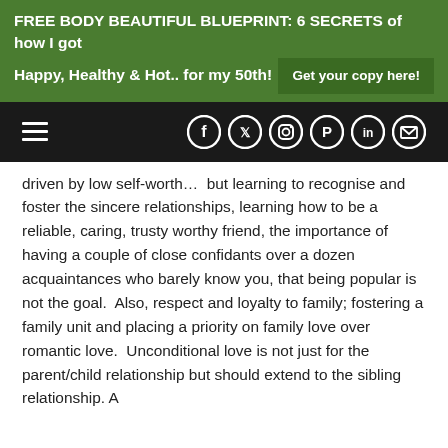FREE BODY BEAUTIFUL BLUEPRINT: 6 SECRETS of how I got Happy, Healthy & Hot.. for my 50th! Get your copy here!
[Figure (screenshot): Black navigation bar with hamburger menu icon on the left and social media icons (Facebook, Twitter, Instagram, Pinterest, LinkedIn, Email) on the right, white circles on black background]
driven by low self-worth…  but learning to recognise and foster the sincere relationships, learning how to be a reliable, caring, trusty worthy friend, the importance of having a couple of close confidants over a dozen acquaintances who barely know you, that being popular is not the goal.  Also, respect and loyalty to family; fostering a family unit and placing a priority on family love over romantic love.  Unconditional love is not just for the parent/child relationship but should extend to the sibling relationship. A